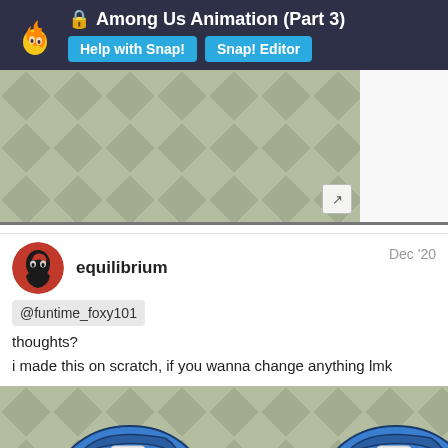Among Us Animation (Part 3) | Help with Snap! | Snap! Editor
[Figure (screenshot): Diamond/argyle pattern background preview image for a Snap! animation, with an expand/fullscreen icon in the bottom right corner.]
equilibrium  Dec '20
@funtime_foxy101
thoughts?
i made this on scratch, if you wanna change anything lmk
[Figure (screenshot): Among Us animation game screenshot showing two blue crewmate characters on a diamond-patterned background, with a page counter overlay showing 11/90.]